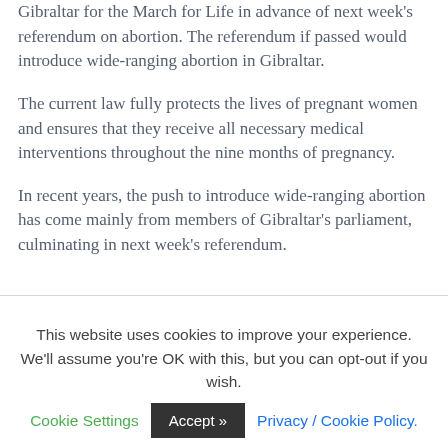Gibraltar for the March for Life in advance of next week's referendum on abortion. The referendum if passed would introduce wide-ranging abortion in Gibraltar.
The current law fully protects the lives of pregnant women and ensures that they receive all necessary medical interventions throughout the nine months of pregnancy.
In recent years, the push to introduce wide-ranging abortion has come mainly from members of Gibraltar's parliament, culminating in next week's referendum.
This website uses cookies to improve your experience. We'll assume you're OK with this, but you can opt-out if you wish. Cookie Settings | Accept >> | Privacy / Cookie Policy.